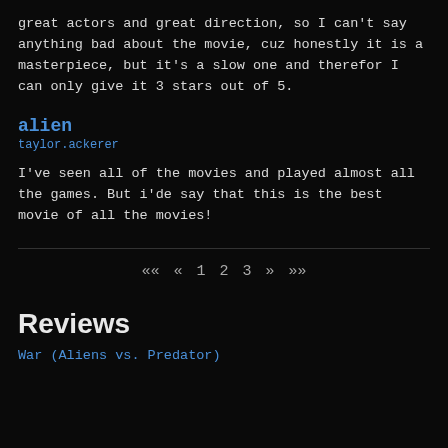great actors and great direction, so I can't say anything bad about the movie, cuz honestly it is a masterpiece, but it's a slow one and therefor I can only give it 3 stars out of 5.
alien
taylor.ackerer
I've seen all of the movies and played almost all the games. But i'de say that this is the best movie of all the movies!
«« « 1 2 3 » »»
Reviews
War (Aliens vs. Predator)